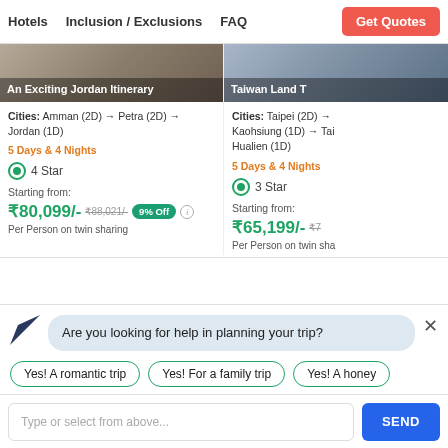Hotels | Inclusion / Exclusions | FAQ | Get Quotes
[Figure (screenshot): Travel card for An Exciting Jordan Itinerary with cities Amman (2D), Petra (2D), Jordan (1D)]
Cities: Amman (2D) → Petra (2D) → Jordan (1D)
5 Days & 4 Nights
4 Star
Starting from:
₹80,099/- ₹88,021/- 9% Off
Per Person on twin sharing
[Figure (screenshot): Travel card for Taiwan Land Tour with cities Taipei (2D), Kaohsiung (1D), Tai..., Hualien (1D)]
Cities: Taipei (2D) → Kaohsiung (1D) → Tai... Hualien (1D)
5 Days & 4 Nights
3 Star
Starting from:
₹65,199/- ₹7...
Per Person on twin sha...
Are you looking for help in planning your trip?
Yes! A romantic trip
Yes! For a family trip
Yes! A honey...
Type or select from above...
SEND